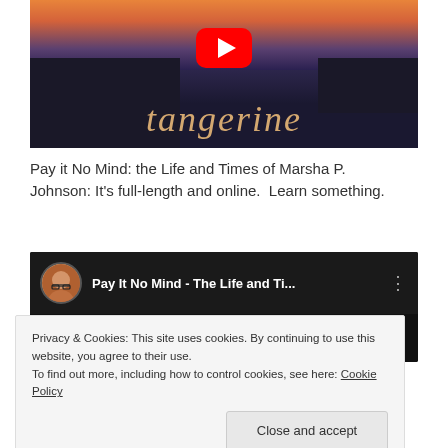[Figure (screenshot): YouTube video thumbnail for the film 'Tangerine' showing silhouettes of people against an orange/purple sunset sky with telephone poles. A red YouTube play button is centered on the image. The word 'tangerine' is written in cursive script at the bottom.]
Pay it No Mind: the Life and Times of Marsha P. Johnson: It's full-length and online.  Learn something.
[Figure (screenshot): YouTube video embed preview showing 'Pay It No Mind - The Life and Ti...' with a user avatar (person with glasses) on the left, video title text, three-dot menu icon, and a partially visible 'Pay It No Mind' title card on a dark background.]
Privacy & Cookies: This site uses cookies. By continuing to use this website, you agree to their use.
To find out more, including how to control cookies, see here: Cookie Policy
Close and accept